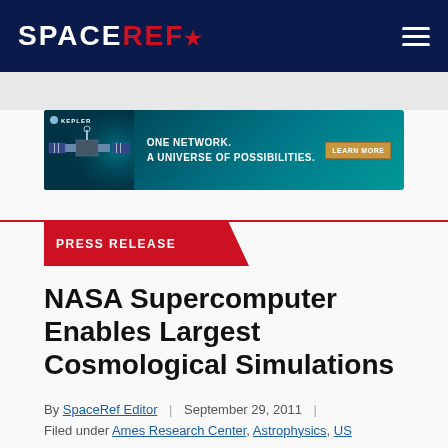SPACEREF*
[Figure (photo): Kepler satellite advertisement banner: 'ONE NETWORK. A UNIVERSE OF POSSIBILITIES.' with a Learn More button]
PRESS RELEASE
NASA Supercomputer Enables Largest Cosmological Simulations
By SpaceRef Editor | September 29, 2011 | Filed under Ames Research Center, Astrophysics, US